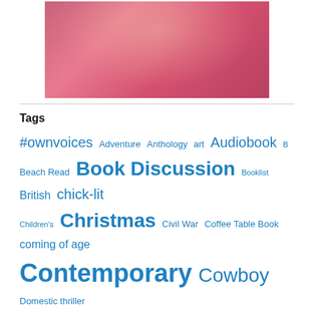[Figure (photo): Partial photo of a woman in a pink/magenta top, cropped at top]
Tags
#ownvoices Adventure Anthology art Audiobook B Beach Read Book Discussion Booklist British chick-lit Children's Christmas Civil War Coffee Table Book coming of age Contemporary Cowboy Domestic thriller Dystopian eco-thriller epistolary novel Erotica Fantasy Food Foodie Fiction Gift Gift books Graphic Novel Gravy Highlands Historical History Holiday Holocaust Humor International International thriller Italian Jewish Legal Legal